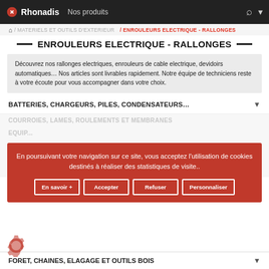Rhonadis — Nos produits
/ MATERIELS ET OUTILS D'EXTERIEUR / ENROULEURS ELECTRIQUE - RALLONGES
ENROULEURS ELECTRIQUE - RALLONGES
Découvrez nos rallonges electriques, enrouleurs de cable electrique, devidoirs automatiques… Nos articles sont livrables rapidement. Notre équipe de techniciens reste à votre écoute pour vous accompagner dans votre choix.
BATTERIES, CHARGEURS, PILES, CONDENSATEURS…
En poursuivant votre navigation sur ce site, vous acceptez l'utilisation de cookies destinés à réaliser des statistiques de visite.
En savoir +
Accepter
Refuser
Personnaliser
FORET, CHAINES, ELAGAGE ET OUTILS BOIS